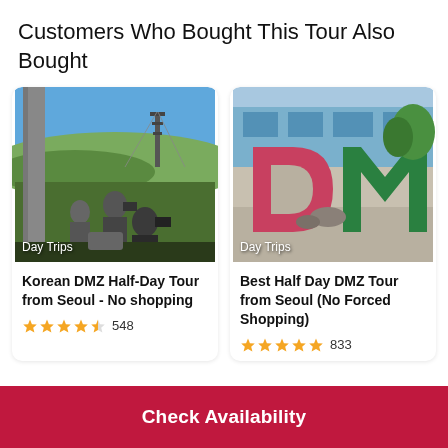Customers Who Bought This Tour Also Bought
[Figure (photo): People photographing at a DMZ observation point with a tower in the background, green hills and blue sky]
Korean DMZ Half-Day Tour from Seoul - No shopping
★★★★½ 548
[Figure (photo): Large DMZ sign letters D and M in red and green colors outside a building]
Best Half Day DMZ Tour from Seoul (No Forced Shopping)
★★★★★ 833
Check Availability